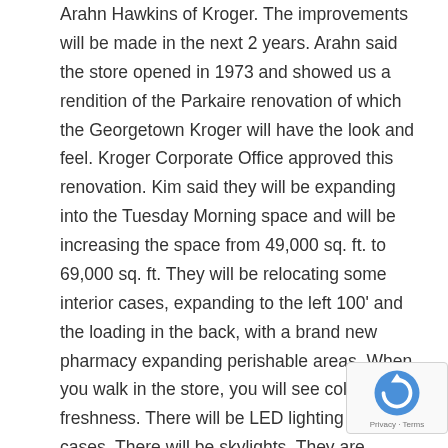Arahn Hawkins of Kroger. The improvements will be made in the next 2 years. Arahn said the store opened in 1973 and showed us a rendition of the Parkaire renovation of which the Georgetown Kroger will have the look and feel. Kroger Corporate Office approved this renovation. Kim said they will be expanding into the Tuesday Morning space and will be increasing the space from 49,000 sq. ft. to 69,000 sq. ft. They will be relocating some interior cases, expanding to the left 100' and the loading in the back, with a brand new pharmacy expanding perishable areas. When you walk in the store, you will see color and freshness. There will be LED lighting in the cases. There will be skylights. They are adding a 2nd fl for offices with an elevator. They are not sure if they will keep the store open during the
[Figure (other): reCAPTCHA badge with Privacy and Terms links]